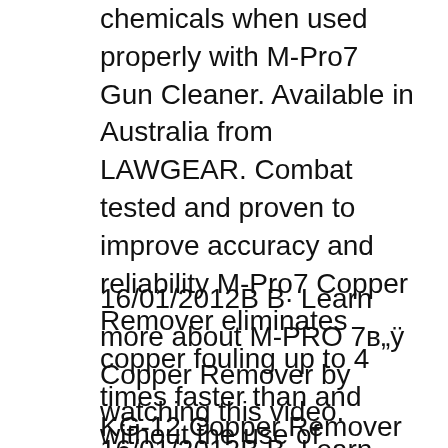chemicals when used properly with M-Pro7 Gun Cleaner. Available in Australia from LAWGEAR. Combat tested and proven to improve accuracy and reliability M-Pro7 Copper Remover eliminates copper fouling up to 4 times faster than and without the use of ammonia or other toxic chemicals when used properly with M-Pro7 Gun Cleaner. Available in Australia from LAWGEAR.
16/01/2012В В· Learn more about M-PRO 7в„ÿ Copper Remover by watching this video. 16/01/2012В В· Learn more about M-PRO 7в„ÿ Copper Remover by watching this video.
KG-12 Copper Remover Test Results,